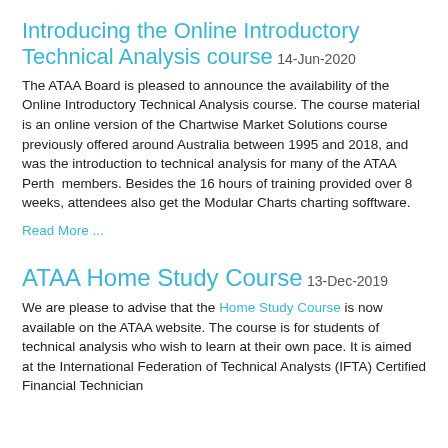Introducing the Online Introductory Technical Analysis course  14-Jun-2020
The ATAA Board is pleased to announce the availability of the Online Introductory Technical Analysis course. The course material is an online version of the Chartwise Market Solutions course previously offered around Australia between 1995 and 2018, and was the introduction to technical analysis for many of the ATAA Perth members. Besides the 16 hours of training provided over 8 weeks, attendees also get the Modular Charts charting sofftware.
Read More ...
ATAA Home Study Course  13-Dec-2019
We are please to advise that the Home Study Course is now available on the ATAA website. The course is for students of technical analysis who wish to learn at their own pace. It is aimed at the International Federation of Technical Analysts (IFTA) Certified Financial Technician...